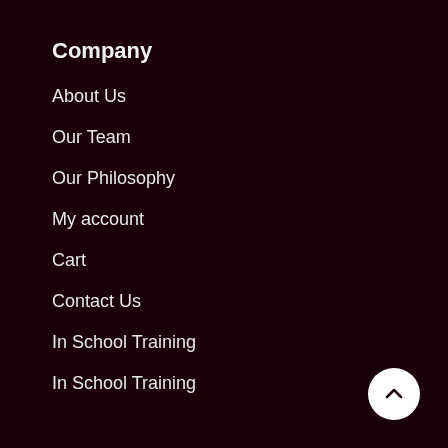Company
About Us
Our Team
Our Philosophy
My account
Cart
Contact Us
In School Training
In School Training
Quick links
All Courses
KUBA Mandatory C